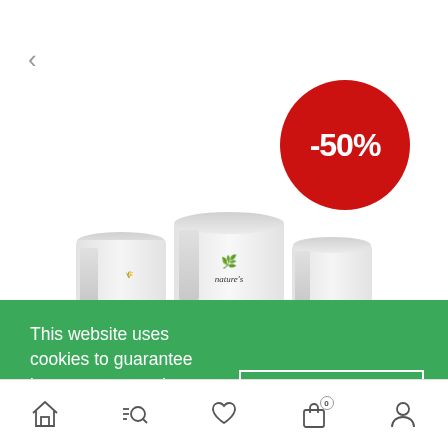[Figure (screenshot): Product page showing Nature's brand food cans with a -50% sale badge in a red circle. A back arrow is visible on the upper left.]
This website uses cookies to guarantee better user experience. By using this website you agree with use of cookies on our website.
[Figure (other): Close button with an x inside a white outlined rectangle on the green cookie banner]
[Figure (other): Bottom navigation bar with home, search, heart/wishlist, shopping bag (with 0 badge), and profile icons]